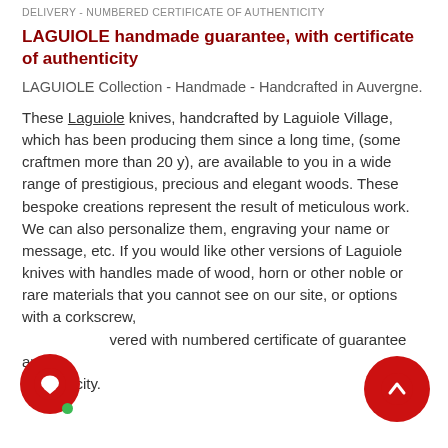DELIVERY - NUMBERED CERTIFICATE OF AUTHENTICITY
LAGUIOLE handmade guarantee, with certificate of authenticity
LAGUIOLE Collection - Handmade - Handcrafted in Auvergne.
These Laguiole knives, handcrafted by Laguiole Village, which has been producing them since a long time, (some craftmen more than 20 y), are available to you in a wide range of prestigious, precious and elegant woods. These bespoke creations represent the result of meticulous work. We can also personalize them, engraving your name or message, etc. If you would like other versions of Laguiole knives with handles made of wood, horn or other noble or rare materials that you cannot see on our site, or options with a corkscrew, ...vered with numbered certificate of guarantee and authenticity.